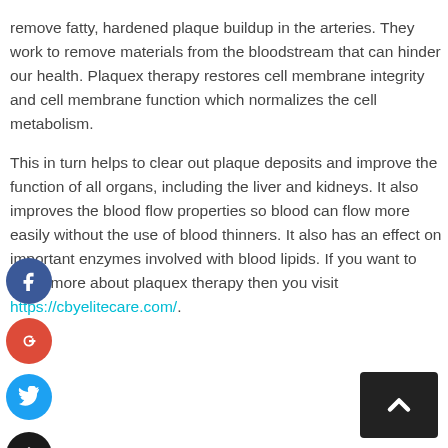remove fatty, hardened plaque buildup in the arteries. They work to remove materials from the bloodstream that can hinder our health. Plaquex therapy restores cell membrane integrity and cell membrane function which normalizes the cell metabolism.
This in turn helps to clear out plaque deposits and improve the function of all organs, including the liver and kidneys. It also improves the blood flow properties so blood can flow more easily without the use of blood thinners. It also has an effect on important enzymes involved with blood lipids. If you want to know more about plaquex therapy then you visit https://cbyelitecare.com/.